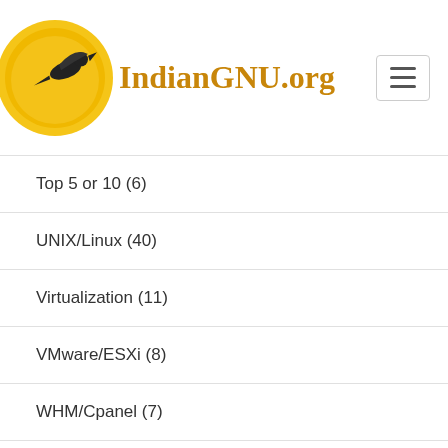IndianGNU.org
Top 5 or 10 (6)
UNIX/Linux (40)
Virtualization (11)
VMware/ESXi (8)
WHM/Cpanel (7)
Zimbra server (1)
Общая информация (14)
معلومات عامة (11)
సాధారణ సమాచారం (12)